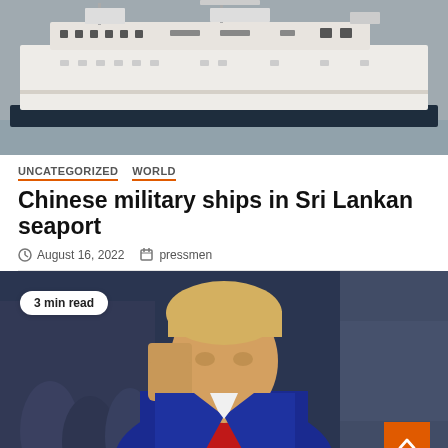[Figure (photo): Aerial or side view of a large white military or civilian ship on grey water]
UNCATEGORIZED   WORLD
Chinese military ships in Sri Lankan seaport
August 16, 2022   pressmen
[Figure (photo): Man in dark suit with red tie raising fist, with '3 min read' badge overlaid in top left corner; orange back-to-top button in bottom right]